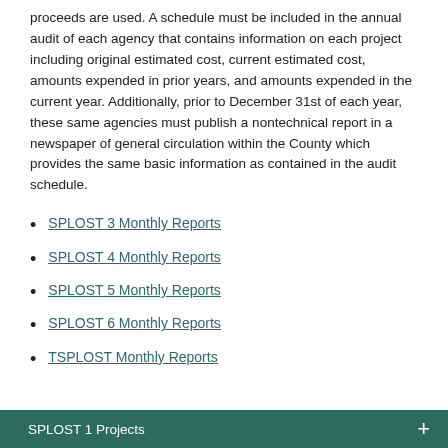proceeds are used. A schedule must be included in the annual audit of each agency that contains information on each project including original estimated cost, current estimated cost, amounts expended in prior years, and amounts expended in the current year. Additionally, prior to December 31st of each year, these same agencies must publish a nontechnical report in a newspaper of general circulation within the County which provides the same basic information as contained in the audit schedule.
SPLOST 3 Monthly Reports
SPLOST 4 Monthly Reports
SPLOST 5 Monthly Reports
SPLOST 6 Monthly Reports
TSPLOST Monthly Reports
SPLOST 1 Projects